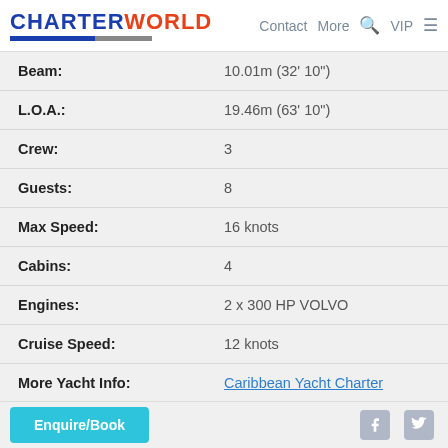CHARTERWORLD  Contact  More  VIP
| Beam: | 10.01m (32' 10") |
| L.O.A.: | 19.46m (63' 10") |
| Crew: | 3 |
| Guests: | 8 |
| Max Speed: | 16 knots |
| Cabins: | 4 |
| Engines: | 2 x 300 HP VOLVO |
| Cruise Speed: | 12 knots |
| More Yacht Info: | Caribbean Yacht Charter |
| Builder/Designer: | Vplp And Nauta Design, Lagoon |
| Locations: | US Virgin Islands, THE CARIBBEAN, Leeward Islands, BVI, AMERICA |
Enquire/Book